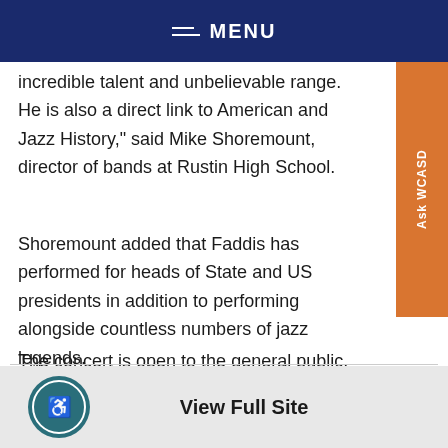MENU
incredible talent and unbelievable range. He is also a direct link to American and Jazz History," said Mike Shoremount, director of bands at Rustin High School.
Shoremount added that Faddis has performed for heads of State and US presidents in addition to performing alongside countless numbers of jazz legends.
The concert is open to the general public. Tickets can be purchased by clicking here.
View Full Site